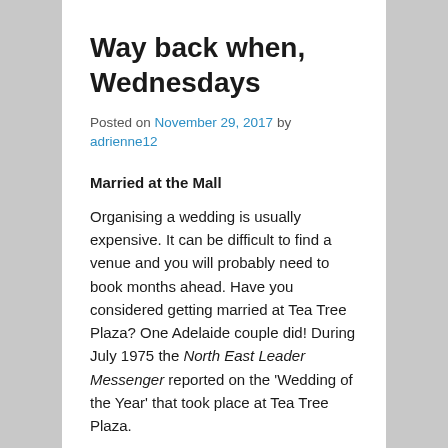Way back when, Wednesdays
Posted on November 29, 2017 by adrienne12
Married at the Mall
Organising a wedding is usually expensive. It can be difficult to find a venue and you will probably need to book months ahead. Have you considered getting married at Tea Tree Plaza? One Adelaide couple did! During July 1975 the North East Leader Messenger reported on the 'Wedding of the Year' that took place at Tea Tree Plaza.
On page 25 of the edition dated 9 July, 1975 the North East Leader featured the wedding celebration of Marcella Denengelse and Robert Scott. The ceremony took place on Friday 4 July in the mall on the upper level of Tea Tree Plaza. The couple had won the Wedding of the Year competition and all of their expenses were paid for by the